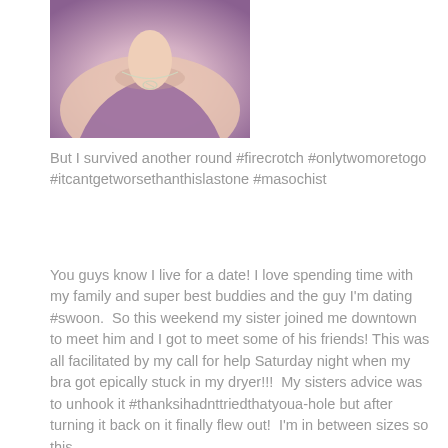[Figure (photo): Close-up photo of a person wearing a purple top and a silver necklace, showing neck and upper chest area]
But I survived another round #firecrotch #onlytwomoretogo #itcantgetworsethanthislastone #masochist
You guys know I live for a date! I love spending time with my family and super best buddies and the guy I'm dating #swoon.  So this weekend my sister joined me downtown to meet him and I got to meet some of his friends! This was all facilitated by my call for help Saturday night when my bra got epically stuck in my dryer!!!  My sisters advice was to unhook it #thanksihadnttriedthatyoua-hole but after turning it back on it finally flew out!  I'm in between sizes so this